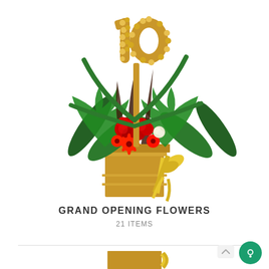[Figure (photo): A tall grand opening flower stand with a gold rectangular vase/pedestal decorated with a yellow ribbon bow. The arrangement features lush green tropical leaves (monstera, palm), red roses, red gerbera daisies, white flowers, and a large golden sculptural '10' numeral topper made of textured gold flowers/material. White background.]
GRAND OPENING FLOWERS
21 ITEMS